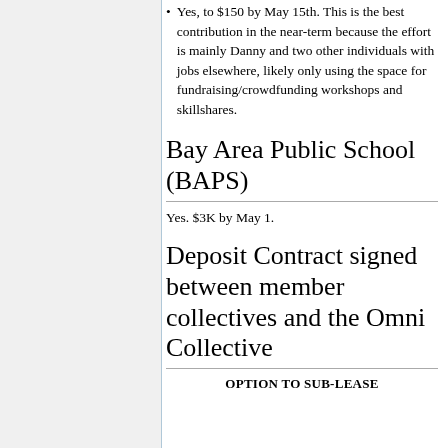Yes, to $150 by May 15th. This is the best contribution in the near-term because the effort is mainly Danny and two other individuals with jobs elsewhere, likely only using the space for fundraising/crowdfunding workshops and skillshares.
Bay Area Public School (BAPS)
Yes. $3K by May 1.
Deposit Contract signed between member collectives and the Omni Collective
OPTION TO SUB-LEASE